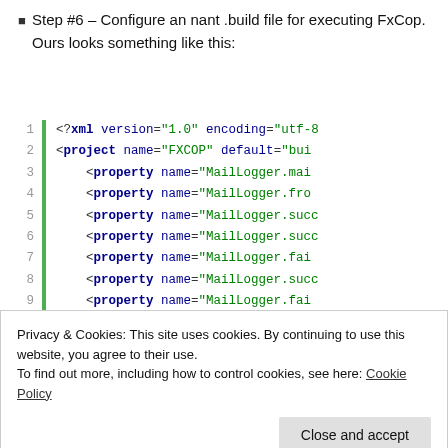Step #6 – Configure an nant .build file for executing FxCop. Ours looks something like this:
[Figure (screenshot): Code block showing XML nant build file with line numbers 1-12 visible. Lines include <?xml version declaration, <project name='FXCOP', and multiple <property name='MailLogger.*' entries, plus <fileset id='MailLogger.success...' at line 12. Code uses monospace font with green vertical bar separator.]
Privacy & Cookies: This site uses cookies. By continuing to use this website, you agree to their use.
To find out more, including how to control cookies, see here: Cookie Policy